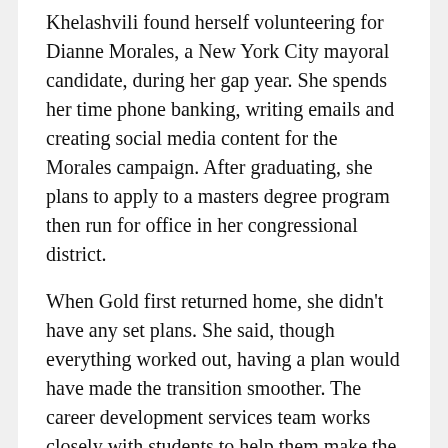Khelashvili found herself volunteering for Dianne Morales, a New York City mayoral candidate, during her gap year. She spends her time phone banking, writing emails and creating social media content for the Morales campaign. After graduating, she plans to apply to a masters degree program then run for office in her congressional district.
When Gold first returned home, she didn't have any set plans. She said, though everything worked out, having a plan would have made the transition smoother. The career development services team works closely with students to help them make the most of their gap year. Okrosy said the most important part of the plan is that students do return and complete their degree.
Recent graduate Nancy finished her degree in six and a half years. Over the course of her time at Hunter, which ended in December 2020, she took three semesters off due to health reasons. When she took her second semester off, Nancy accepted she